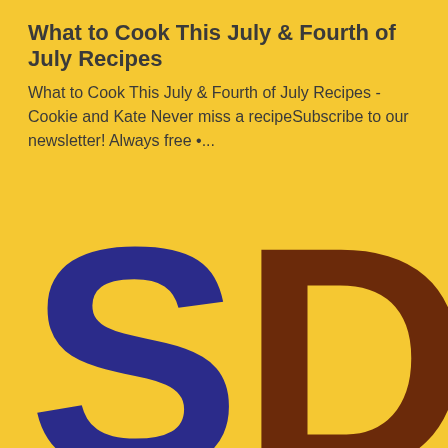What to Cook This July & Fourth of July Recipes
What to Cook This July & Fourth of July Recipes - Cookie and Kate Never miss a recipeSubscribe to our newsletter! Always free •...
[Figure (logo): Large stylized letters 'S' in dark blue and 'D' in dark brown on a yellow background, partially cropped at the bottom of the page]